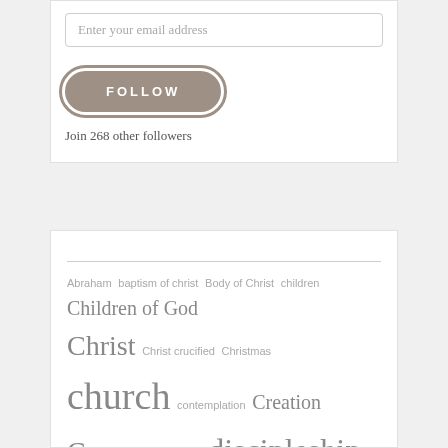Enter your email address
FOLLOW
Join 268 other followers
Abraham baptism of christ Body of Christ children Children of God Christ Christ crucified Christmas church contemplation Creation Cross David Death discipleship Environmental collapse Epiphany Eucharist Exodus Faith forgiveness Freedom Genesis Glory Gospel Grace Heart Holy Hospitality I AM Identity Idols